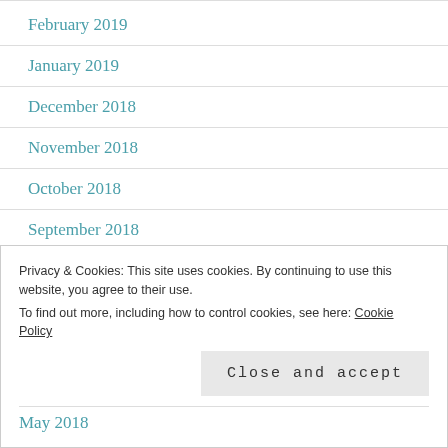February 2019
January 2019
December 2018
November 2018
October 2018
September 2018
August 2018
Privacy & Cookies: This site uses cookies. By continuing to use this website, you agree to their use. To find out more, including how to control cookies, see here: Cookie Policy
May 2018